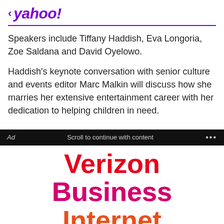< yahoo!
Speakers include Tiffany Haddish, Eva Longoria, Zoe Saldana and David Oyelowo.
Haddish's keynote conversation with senior culture and events editor Marc Malkin will discuss how she marries her extensive entertainment career with her dedication to helping children in need.
Ad   Scroll to continue with content   ...
[Figure (advertisement): Verizon Business Internet is nationwide advertisement with large colorful text on white background]